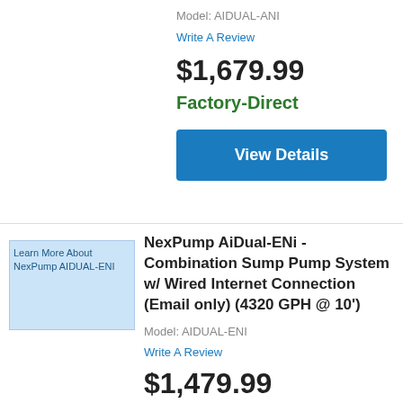Model: AIDUAL-ANI
Write A Review
$1,679.99
Factory-Direct
View Details
[Figure (other): Product image placeholder for NexPump AIDUAL-ENI]
NexPump AiDual-ENi - Combination Sump Pump System w/ Wired Internet Connection (Email only) (4320 GPH @ 10')
Model: AIDUAL-ENI
Write A Review
$1,479.99